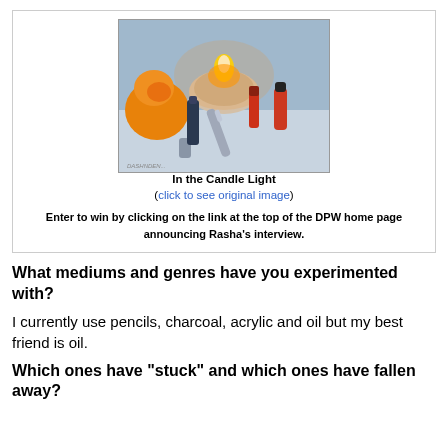[Figure (illustration): Oil painting of a still life scene with a lit candle in a bowl, an orange, nail polish bottles, a lighter, and other small objects arranged on a surface, rendered in warm candlelight tones.]
In the Candle Light
(click to see original image)
Enter to win by clicking on the link at the top of the DPW home page announcing Rasha's interview.
What mediums and genres have you experimented with?
I currently use pencils, charcoal, acrylic and oil but my best friend is oil.
Which ones have "stuck" and which ones have fallen away?